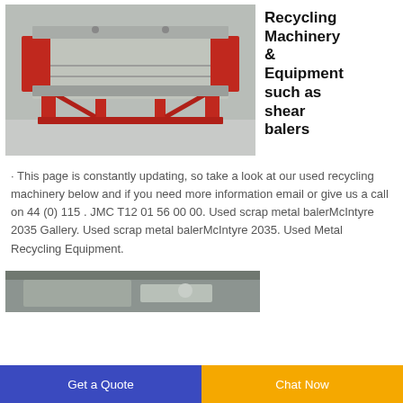[Figure (photo): Photo of a red and grey industrial recycling shear baler machine on a concrete surface]
Recycling Machinery & Equipment such as shear balers
· This page is constantly updating, so take a look at our used recycling machinery below and if you need more information email or give us a call on 44 (0) 115 . JMC T12 01 56 00 00. Used scrap metal balerMcIntyre 2035 Gallery. Used scrap metal balerMcIntyre 2035. Used Metal Recycling Equipment.
[Figure (photo): Partial photo of another recycling machine at bottom of page]
Get a Quote  |  Chat Now